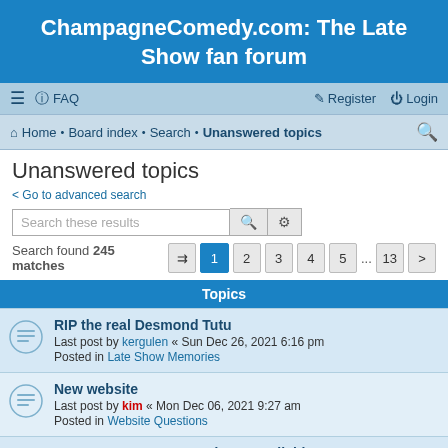ChampagneComedy.com: The Late Show fan forum
≡  FAQ    Register  Login
Home · Board index · Search · Unanswered topics
Unanswered topics
< Go to advanced search
Search these results
Search found 245 matches  Page 1 2 3 4 5 ... 13
Topics
RIP the real Desmond Tutu
Last post by kergulen « Sun Dec 26, 2021 6:16 pm
Posted in Late Show Memories
New website
Last post by kim « Mon Dec 06, 2021 9:27 am
Posted in Website Questions
TLS S01E01 Remastered now available
Last post by switchopens « Mon Jul 19, 2021 10:01 am
Posted in General D-Gen Late Show talk